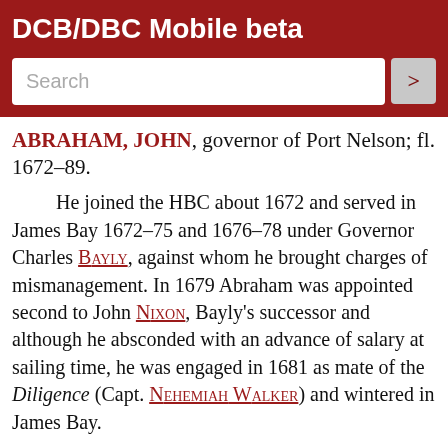DCB/DBC Mobile beta
ABRAHAM, JOHN, governor of Port Nelson; fl. 1672–89.
He joined the HBC about 1672 and served in James Bay 1672–75 and 1676–78 under Governor Charles Bayly, against whom he brought charges of mismanagement. In 1679 Abraham was appointed second to John Nixon, Bayly's successor and although he absconded with an advance of salary at sailing time, he was engaged in 1681 as mate of the Diligence (Capt. Nehemiah Walker) and wintered in James Bay.
Despite Nixon's criticisms of him, Abraham was promoted captain of the George in 1683, his destination being Port Nelson, where Governor John Bridgar had gone in 1682 to establish a fort. En route Abraham assisted Nehemiah Walker to capture the interloper Expectation and, on arrival, finding that the Company's